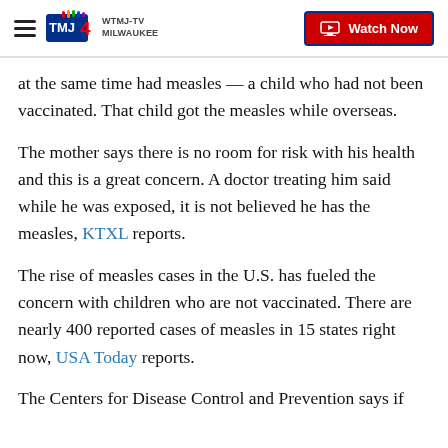WTMJ-TV MILWAUKEE | Watch Now
at the same time had measles — a child who had not been vaccinated. That child got the measles while overseas.
The mother says there is no room for risk with his health and this is a great concern. A doctor treating him said while he was exposed, it is not believed he has the measles, KTXL reports.
The rise of measles cases in the U.S. has fueled the concern with children who are not vaccinated. There are nearly 400 reported cases of measles in 15 states right now, USA Today reports.
The Centers for Disease Control and Prevention says if